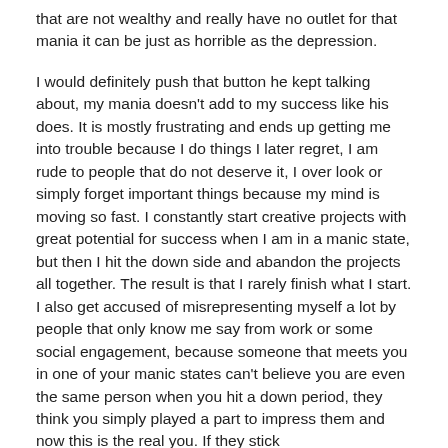that are not wealthy and really have no outlet for that mania it can be just as horrible as the depression.
I would definitely push that button he kept talking about, my mania doesn't add to my success like his does. It is mostly frustrating and ends up getting me into trouble because I do things I later regret, I am rude to people that do not deserve it, I over look or simply forget important things because my mind is moving so fast. I constantly start creative projects with great potential for success when I am in a manic state, but then I hit the down side and abandon the projects all together. The result is that I rarely finish what I start. I also get accused of misrepresenting myself a lot by people that only know me say from work or some social engagement, because someone that meets you in one of your manic states can't believe you are even the same person when you hit a down period, they think you simply played a part to impress them and now this is the real you. If they stick